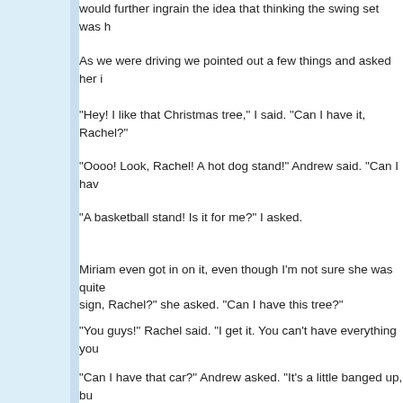would further ingrain the idea that thinking the swing set was h...
As we were driving we pointed out a few things and asked her i...
"Hey! I like that Christmas tree," I said. "Can I have it, Rachel?"...
"Oooo! Look, Rachel! A hot dog stand!" Andrew said. "Can I hav...
"A basketball stand! Is it for me?" I asked.
Miriam even got in on it, even though I'm not sure she was quite... sign, Rachel?" she asked. "Can I have this tree?"
"You guys!" Rachel said. "I get it. You can't have everything you...
"Can I have that car?" Andrew asked. "It's a little banged up, bu...
"Dad!" Rachel said faux-seriously. "First time is funny. Second t...
She couldn't even finish the saying because Andrew and I had b... she had no choice but to join in.
This morning we set out a puzzle with the stockings that had a s... "Hey, kids! The best surprise is in the back!" it said. They still co... and shoes and head to the back yard and we'd hunt around o...